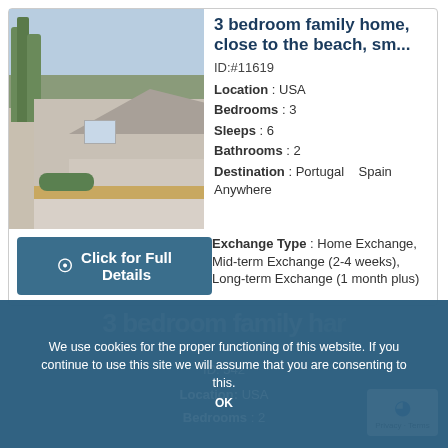3 bedroom family home, close to the beach, sm...
ID:#11619
Location : USA
Bedrooms : 3
Sleeps : 6
Bathrooms : 2
Destination : Portugal   Spain   Anywhere
Exchange Type : Home Exchange, Mid-term Exchange (2-4 weeks), Long-term Exchange (1 month plus)
[Figure (photo): Exterior photo of a single-story family home with trees and a driveway]
Click for Full Details
We use cookies for the proper functioning of this website. If you continue to use this site we will assume that you are consenting to this.
ID: 542
Location: USA
Bedrooms : 2